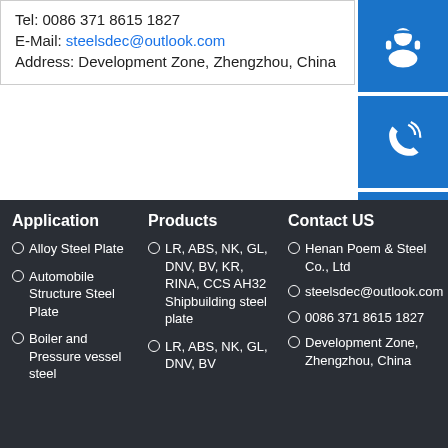Tel: 0086 371 8615 1827
E-Mail: steelsdec@outlook.com
Address: Development Zone, Zhengzhou, China
[Figure (infographic): Blue icon buttons on right: headset/customer service icon, phone icon, Skype icon]
Application
Alloy Steel Plate
Automobile Structure Steel Plate
Boiler and Pressure vessel steel
Products
LR, ABS, NK, GL, DNV, BV, KR, RINA, CCS AH32 Shipbuilding steel plate
LR, ABS, NK, GL, DNV, BV
Contact US
Henan Poem & Steel Co., Ltd
steelsdec@outlook.com
0086 371 8615 1827
Development Zone, Zhengzhou, China